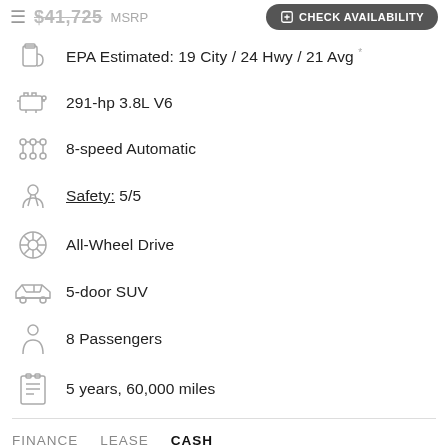$41,725 MSRP  CHECK AVAILABILITY
EPA Estimated: 19 City / 24 Hwy / 21 Avg
291-hp 3.8L V6
8-speed Automatic
Safety: 5/5
All-Wheel Drive
5-door SUV
8 Passengers
5 years, 60,000 miles
FINANCE   LEASE   CASH
$41,725
NEED HELP?
CHECK AVAILABILITY